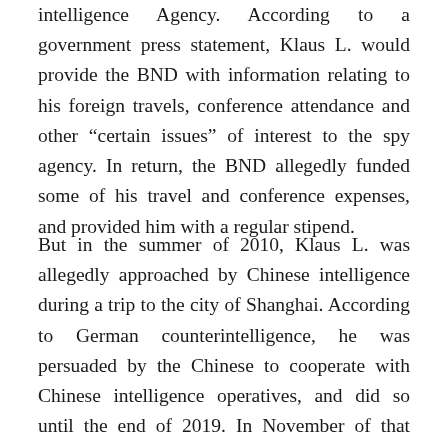intelligence Agency. According to a government press statement, Klaus L. would provide the BND with information relating to his foreign travels, conference attendance and other “certain issues” of interest to the spy agency. In return, the BND allegedly funded some of his travel and conference expenses, and provided him with a regular stipend.
But in the summer of 2010, Klaus L. was allegedly approached by Chinese intelligence during a trip to the city of Shanghai. According to German counterintelligence, he was persuaded by the Chinese to cooperate with Chinese intelligence operatives, and did so until the end of 2019. In November of that year, German police searched his home in Munich, as part of an investigation into his activities. In May of this year, Klaus L. was charged with espionage and on July 5 he was formally arrested.